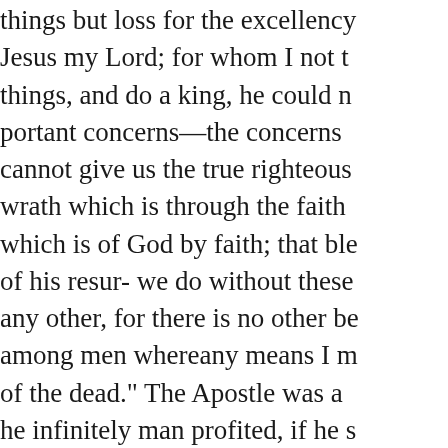things but loss for the excellency of Jesus my Lord; for whom I not things, and do a king, he could n portant concerns—the concerns cannot give us the true righteous wrath which is through the faith which is of God by faith; that ble of his resur- we do without these any other, for there is no other be among men whereany means I m of the dead." The Apostle was a he infinitely man profited, if he s lose his own soul; or what shall soul ?" you do not thus value him objects to an interest in him—an nothing so very dread- mily, but a child, nor even a servant; to he you are not in itment be a righted precious because the swine tram more valuable than thrones of gl joy—but as for you-you-have "n part nor lot in the matter, for you God"—if this be not 1lways rem